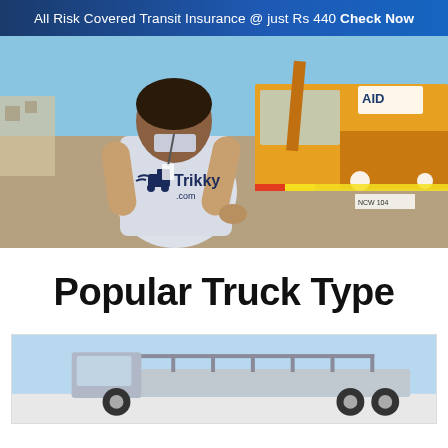All Risk Covered Transit Insurance @ just Rs 440 Check Now
[Figure (photo): Person wearing a Trikky.com branded white polo shirt viewed from behind, standing in front of a yellow truck/lorry. The person is gesturing toward the truck. Industrial/logistics setting.]
Popular Truck Type
[Figure (photo): Partial view of a flatbed truck/trailer with railings, shown from the front-right angle. Light blue sky background.]